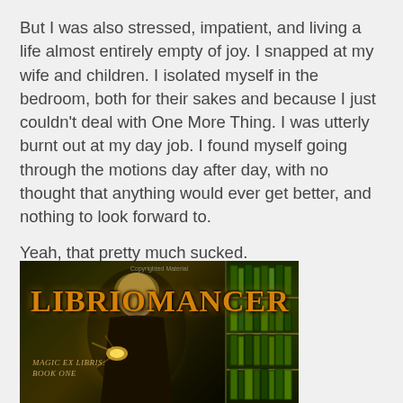But I was also stressed, impatient, and living a life almost entirely empty of joy. I snapped at my wife and children. I isolated myself in the bedroom, both for their sakes and because I just couldn't deal with One More Thing. I was utterly burnt out at my day job. I found myself going through the motions day after day, with no thought that anything would ever get better, and nothing to look forward to.
Yeah, that pretty much sucked.
[Figure (illustration): Book cover of 'Libriomancer' - Magic Ex Libris: Book One. Shows a young man with glowing hands amidst a dark background with bookshelves. The title is in large orange/gold fantasy lettering. Text 'Copyrighted Material' appears at top.]